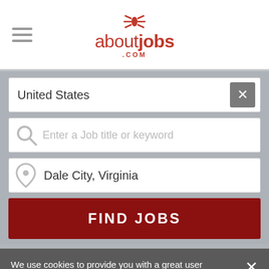[Figure (screenshot): aboutjobs.com website header with logo showing a red asterisk-like bug icon above the text 'aboutjobs.com']
United States
Enter a Job title or keyword
Dale City, Virginia
FIND JOBS
We use cookies to provide you with a great user experience. By using our site you accept our use of cookies. Learn more
Jobs near Dale City, VA